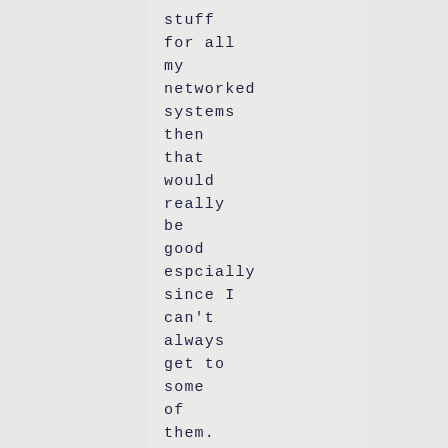stuff
for all
my
networked
systems
then
that
would
really
be
good
espcially
since I
can't
always
get to
some
of
them.
It
would
also
help
when I